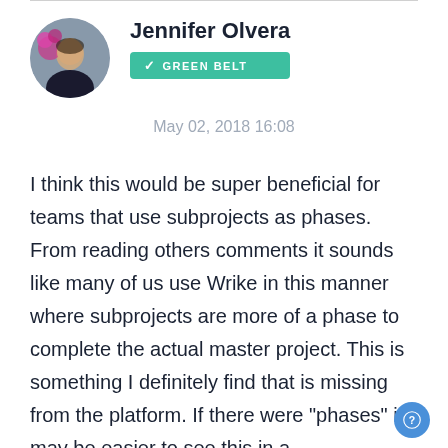[Figure (photo): Circular avatar photo of Jennifer Olvera, a woman holding flowers]
Jennifer Olvera
✓ GREEN BELT
May 02, 2018 16:08
I think this would be super beneficial for teams that use subprojects as phases. From reading others comments it sounds like many of us use Wrike in this manner where subprojects are more of a phase to complete the actual master project. This is something I definitely find that is missing from the platform. If there were "phases" it may be easier to see this in a Dashboard/Board view in the future